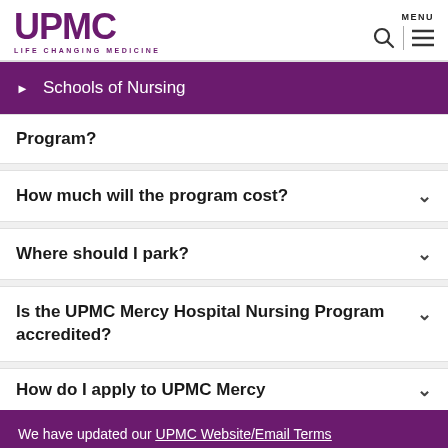UPMC LIFE CHANGING MEDICINE
Schools of Nursing
Program?
How much will the program cost?
Where should I park?
Is the UPMC Mercy Hospital Nursing Program accredited?
How do I apply to UPMC Mercy
We have updated our UPMC Website/Email Terms of Use and Portal Terms and Conditions. See our